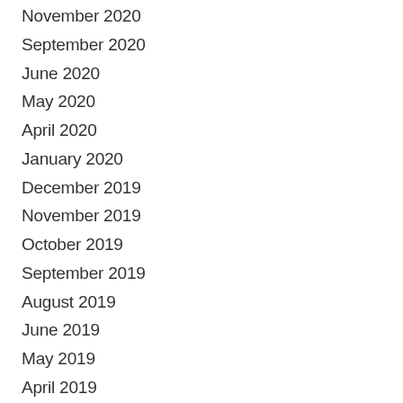November 2020
September 2020
June 2020
May 2020
April 2020
January 2020
December 2019
November 2019
October 2019
September 2019
August 2019
June 2019
May 2019
April 2019
March 2019
February 2019
January 2019